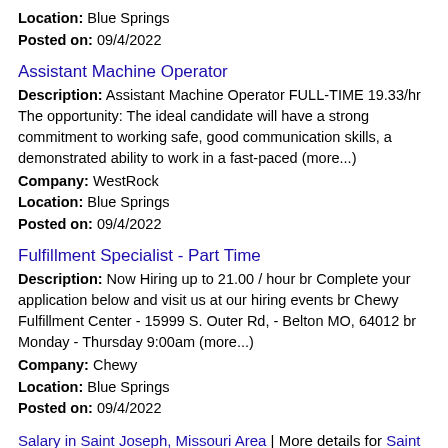Location: Blue Springs
Posted on: 09/4/2022
Assistant Machine Operator
Description: Assistant Machine Operator FULL-TIME 19.33/hr The opportunity: The ideal candidate will have a strong commitment to working safe, good communication skills, a demonstrated ability to work in a fast-paced (more...)
Company: WestRock
Location: Blue Springs
Posted on: 09/4/2022
Fulfillment Specialist - Part Time
Description: Now Hiring up to 21.00 / hour br Complete your application below and visit us at our hiring events br Chewy Fulfillment Center - 15999 S. Outer Rd, - Belton MO, 64012 br Monday - Thursday 9:00am (more...)
Company: Chewy
Location: Blue Springs
Posted on: 09/4/2022
Salary in Saint Joseph, Missouri Area | More details for Saint Joseph, Missouri Jobs |Salary